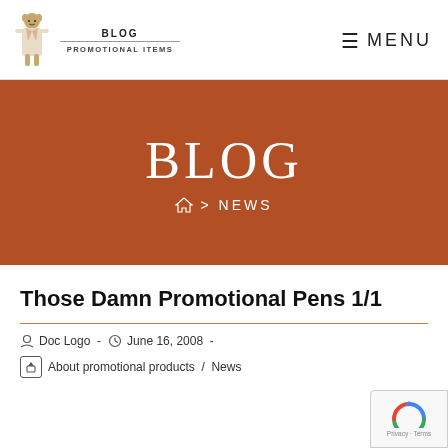BLOG PROMOTIONAL ITEMS  ≡ MENU
BLOG
⌂ > NEWS
Those Damn Promotional Pens 1/1
Doc Logo  -  June 16, 2008  -  About promotional products / News